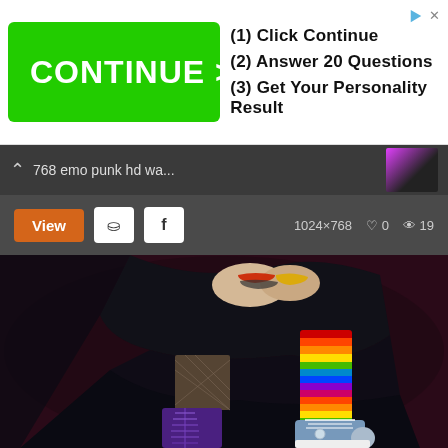[Figure (screenshot): Advertisement banner with green CONTINUE > button and steps: (1) Click Continue, (2) Answer 20 Questions, (3) Get Your Personality Result]
768 emo punk hd wa...
View  1024×768  ♡ 0  👁 19
[Figure (photo): Emo punk girl's legs seated, wearing black skirt, purple lace-up boots on one leg and rainbow striped knee-high sock with blue Converse sneaker on the other, dark purple/maroon background]